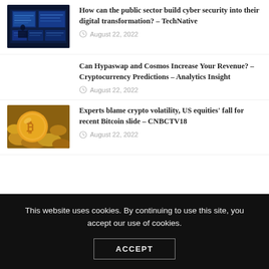[Figure (photo): Dark blue cybersecurity control room with multiple screens]
How can the public sector build cyber security into their digital transformation? – TechNative
August 22, 2022
Can Hypaswap and Cosmos Increase Your Revenue? – Cryptocurrency Predictions – Analytics Insight
August 22, 2022
[Figure (photo): Bitcoin coin on gold nuggets background]
Experts blame crypto volatility, US equities' fall for recent Bitcoin slide – CNBCTV18
August 22, 2022
This website uses cookies. By continuing to use this site, you accept our use of cookies.